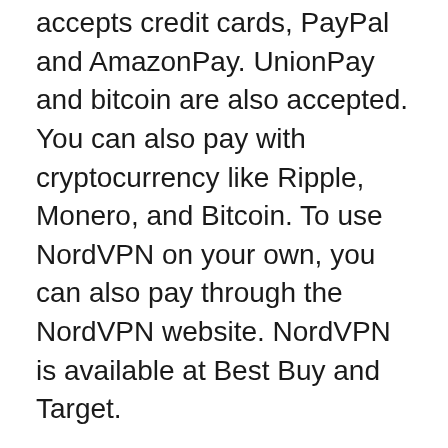accepts credit cards, PayPal and AmazonPay. UnionPay and bitcoin are also accepted. You can also pay with cryptocurrency like Ripple, Monero, and Bitcoin. To use NordVPN on your own, you can also pay through the NordVPN website. NordVPN is available at Best Buy and Target.
NordVPN has 5200 servers worldwide. These servers are located in 60 countries. The majority of its servers are in North America and Europe. The United States, Brazil, Argentina, Canada, Europe, and the Netherlands are among the countries NordVPN covers. Denmark, Latvia and North Macedonia are the European regions represented by NordVPN. This means that NordVPN can reach customers anywhere in